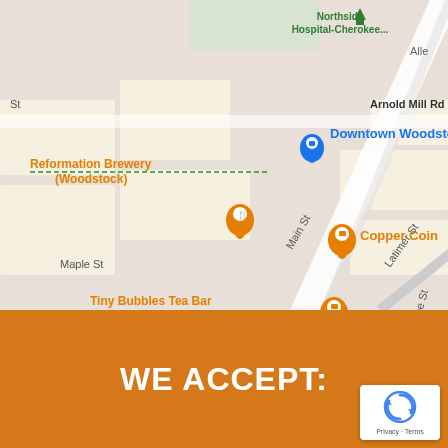[Figure (map): Google Maps screenshot showing Downtown Woodstock area with street labels (Arnold Mill Rd, Main St, Maple St, Fowler St, Latimer St, McAfee St), business pins including Northside Hospital-Cherokee, Downtown Woodstock (blue pin), Reformation Brewery Woodstock (orange pin), Copper Coin (orange pin), Tiny Bubbles Tea Bar (orange pin), Findlay Rowe Designs Gift Shop & Boutique (blue pin), Woodstock Funeral Home (grey pin). Also shows partial labels: Alle, ATS, Bentley Pk, he Rd, Du-- Rd.]
WE ACCEPT:
[Figure (logo): Google reCAPTCHA badge with spinning arrows logo and Privacy · Terms text]